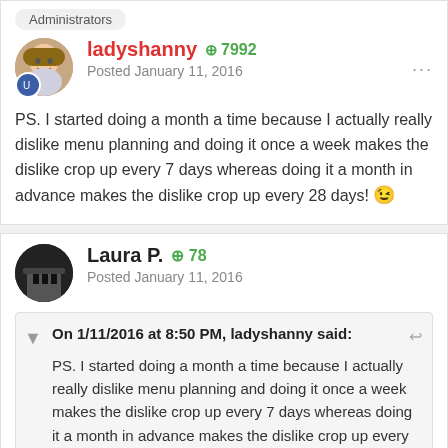Administrators
ladyshanny +7992 Posted January 11, 2016
PS. I started doing a month a time because I actually really dislike menu planning and doing it once a week makes the dislike crop up every 7 days whereas doing it a month in advance makes the dislike crop up every 28 days! 😉
Laura P. +78 Posted January 11, 2016
On 1/11/2016 at 8:50 PM, ladyshanny said:
PS. I started doing a month a time because I actually really dislike menu planning and doing it once a week makes the dislike crop up every 7 days whereas doing it a month in advance makes the dislike crop up every 28 days! 😉